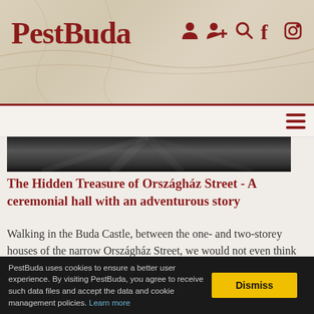PestBuda
[Figure (screenshot): Black and white photo strip showing interior architectural detail, dark tones]
The Hidden Treasure of Országház Street - A ceremonial hall with an adventurous story
Walking in the Buda Castle, between the one- and two-storey houses of the narrow Országház Street, we would not even think that one of them hides a huge ceremonial hall. Although it is actually logical, as the name of the street already suggests that the greatest lords of the country once appeared here, and a representative hall was built for them. The life
PestBuda uses cookies to ensure a better user experience. By visiting PestBuda, you agree to receive such data files and accept the data and cookie management policies. Learn more